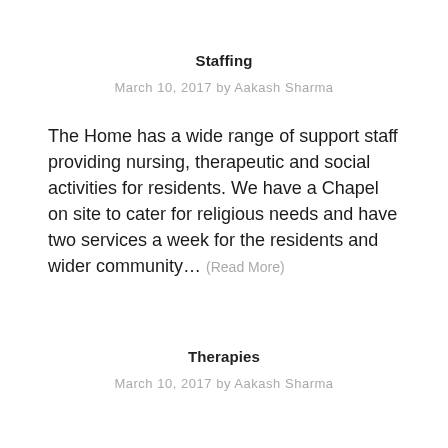Staffing
March 10, 2017 by Aakash Sharma
The Home has a wide range of support staff providing nursing, therapeutic and social activities for residents. We have a Chapel on site to cater for religious needs and have two services a week for the residents and wider community… (Read More)
Therapies
March 10, 2017 by Aakash Sharma